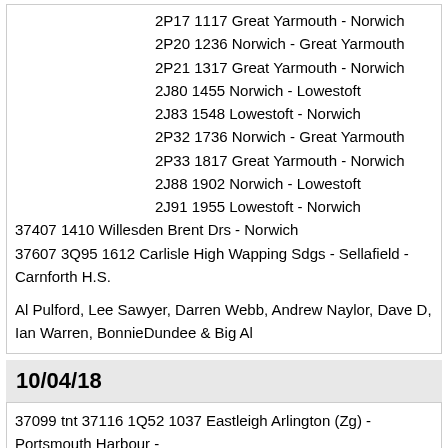2P17 1117 Great Yarmouth - Norwich
2P20 1236 Norwich - Great Yarmouth
2P21 1317 Great Yarmouth - Norwich
2J80 1455 Norwich - Lowestoft
2J83 1548 Lowestoft - Norwich
2P32 1736 Norwich - Great Yarmouth
2P33 1817 Great Yarmouth - Norwich
2J88 1902 Norwich - Lowestoft
2J91 1955 Lowestoft - Norwich
37407 1410 Willesden Brent Drs - Norwich
37607 3Q95 1612 Carlisle High Wapping Sdgs - Sellafield - Carnforth H.S.
Al Pulford, Lee Sawyer, Darren Webb, Andrew Naylor, Dave D, Ian Warren, BonnieDundee & Big Al
10/04/18
37099 tnt 37116 1Q52 1037 Eastleigh Arlington (Zg) - Portsmouth Harbour - Littlehampton - Portsmouth Harbour - Totton Yard - Guildford - Woking Up Yard Recp. - Lymington Pier - Eastleigh Arlington (Zg)
37175 3Z67 1609 Derby R.T.C.(Network Rail) - Cambridge
3O67 2127 Cambridge T.&R.S.M.D. - Norwich - Cromer -